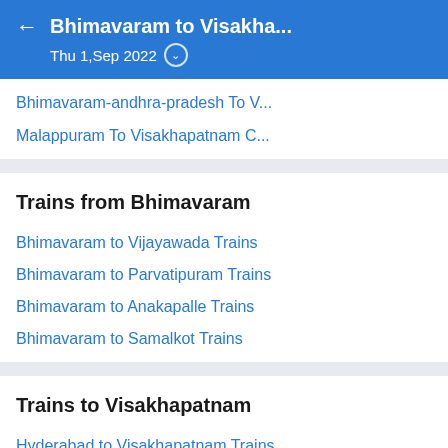Bhimavaram to Visakha… Thu 1,Sep 2022
Bhimavaram-andhra-pradesh To V…
Malappuram To Visakhapatnam C…
Trains from Bhimavaram
Bhimavaram to Vijayawada Trains
Bhimavaram to Parvatipuram Trains
Bhimavaram to Anakapalle Trains
Bhimavaram to Samalkot Trains
Trains to Visakhapatnam
Hyderabad to Visakhapatnam Trains
Vijayawada to Visakhapatnam Trains